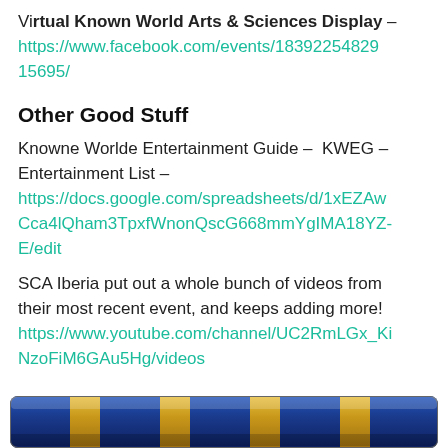Virtual Known World Arts & Sciences Display – https://www.facebook.com/events/18392254829 15695/
Other Good Stuff
Knowne Worlde Entertainment Guide – KWEG – Entertainment List – https://docs.google.com/spreadsheets/d/1xEZAwCca4IQham3TpxfWnonQscG668mmYgIMA18YZ-E/edit
SCA Iberia put out a whole bunch of videos from their most recent event, and keeps adding more! https://www.youtube.com/channel/UC2RmLGx_KiNzoFiM6GAu5Hg/videos
[Figure (illustration): Decorative banner with alternating blue and gold/yellow vertical stripes, rounded rectangle shape]